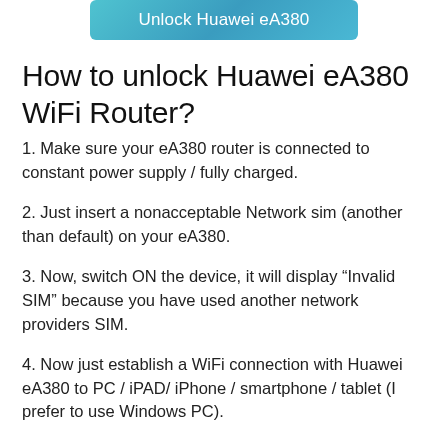[Figure (other): Teal/blue gradient button with white text 'Unlock Huawei eA380']
How to unlock Huawei eA380 WiFi Router?
1. Make sure your eA380 router is connected to constant power supply / fully charged.
2. Just insert a nonacceptable Network sim (another than default) on your eA380.
3. Now, switch ON the device, it will display “Invalid SIM” because you have used another network providers SIM.
4. Now just establish a WiFi connection with Huawei eA380 to PC / iPAD/ iPhone / smartphone / tablet (I prefer to use Windows PC).